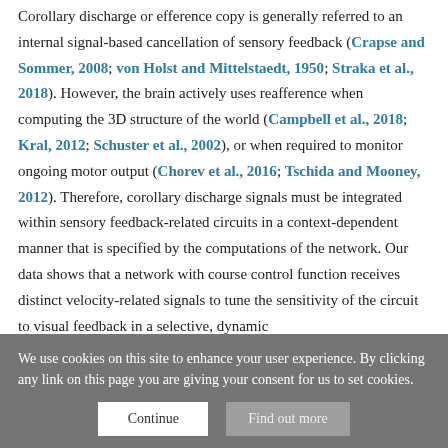Corollary discharge or efference copy is generally referred to an internal signal-based cancellation of sensory feedback (Crapse and Sommer, 2008; von Holst and Mittelstaedt, 1950; Straka et al., 2018). However, the brain actively uses reafference when computing the 3D structure of the world (Campbell et al., 2018; Kral, 2012; Schuster et al., 2002), or when required to monitor ongoing motor output (Chorev et al., 2016; Tschida and Mooney, 2012). Therefore, corollary discharge signals must be integrated within sensory feedback-related circuits in a context-dependent manner that is specified by the computations of the network. Our data shows that a network with course control function receives distinct velocity-related signals to tune the sensitivity of the circuit to visual feedback in a selective, dynamic
We use cookies on this site to enhance your user experience. By clicking any link on this page you are giving your consent for us to set cookies.